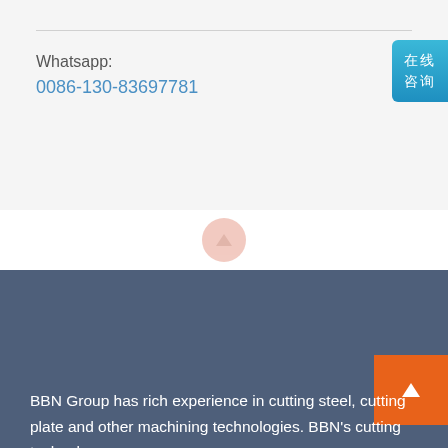Whatsapp:
0086-130-83697781
[Figure (other): Chinese online chat button with text 在线咨询]
[Figure (logo): S Steel Machining Service logo with orange S icon on dark blue background]
BBN Group has rich experience in cutting steel, cutting plate and other machining technologies. BBN's cutting technology